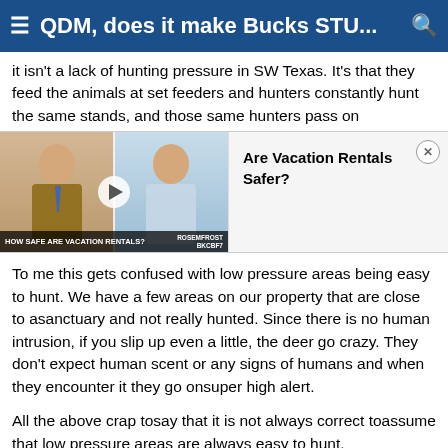≡ QDM, does it make Bucks STU... 🔍
it isn't a lack of hunting pressure in SW Texas. It's that they feed the animals at set feeders and hunters constantly hunt the same stands, and those same hunters pass on
[Figure (screenshot): Video thumbnail showing two men in a split-screen interview format. Caption bar reads 'HOW SAFE ARE VACATION RENTALS?' with a play button overlay. Adjacent advertisement panel reads 'Are Vacation Rentals Safer?' with a close button.]
To me this gets confused with low pressure areas being easy to hunt. We have a few areas on our property that are close to asanctuary and not really hunted. Since there is no human intrusion, if you slip up even a little, the deer go crazy. They don't expect human scent or any signs of humans and when they encounter it they go onsuper high alert.
All the above crap tosay that it is not always correct toassume that low pressure areas are always easy to hunt.